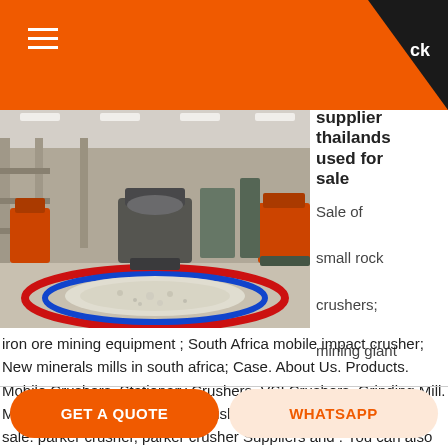ck
[Figure (photo): Interior of a large industrial factory/crushing plant with VSI crushers and stone/gravel on the floor, shot from ground level showing machinery and ceiling structure.]
supplier thailands used for sale
Sale of small rock crushers; mining giant
iron ore mining equipment ; South Africa mobile impact crusher; New minerals mills in south africa; Case. About Us. Products. Mobile Crushers. Stationary Crushers. VSI Crushers. Grinding Mill. Mining Machine. parker track crusher supplier thailands used for sale. parker crusher, parker crusher Suppliers and . You can also choose .